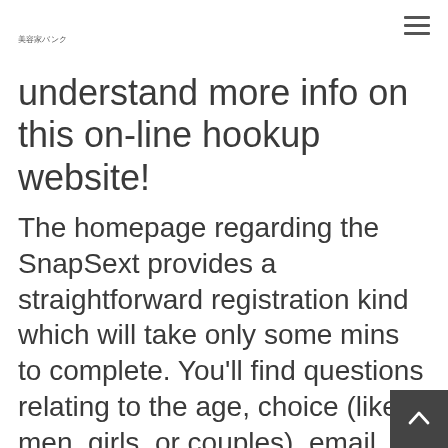美容家バンク
understand more info on this on-line hookup website!
The homepage regarding the SnapSext provides a straightforward registration kind which will take only some mins to complete. You'll find questions relating to the age, choice (like men, girls, or couples), email address, and password. It's also wise to concur that you might be at least 18 years of age. The disclaimer says that people has contractually